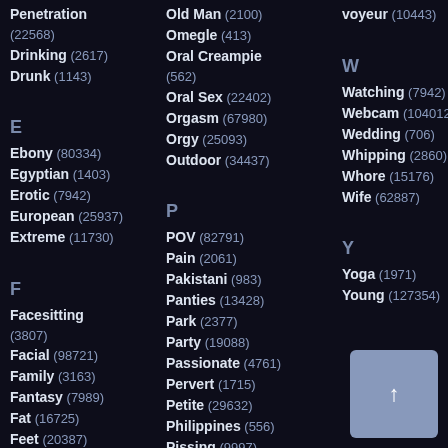Penetration (22568)
Drinking (2617)
Drunk (1143)
E
Ebony (80334)
Egyptian (1403)
Erotic (7942)
European (25937)
Extreme (11730)
F
Facesitting (3807)
Facial (98721)
Family (3163)
Fantasy (7989)
Fat (16725)
Feet (20387)
Femdom (33974)
Fetish (79992)
Filipina (2145)
Fingering (59303)
Old Man (2100)
Omegle (413)
Oral Creampie (562)
Oral Sex (22402)
Orgasm (67980)
Orgy (25093)
Outdoor (34437)
P
POV (82791)
Pain (2061)
Pakistani (983)
Panties (13428)
Park (2377)
Party (19088)
Passionate (4761)
Pervert (1715)
Petite (29632)
Philippines (556)
Pissing (9997)
Pizza (440)
Plumper (2182)
Police (726)
Pornstar (146451)
voyeur (10443)
W
Watching (7942)
Webcam (104012)
Wedding (706)
Whipping (2860)
Whore (15176)
Wife (62887)
Y
Yoga (1971)
Young (127354)